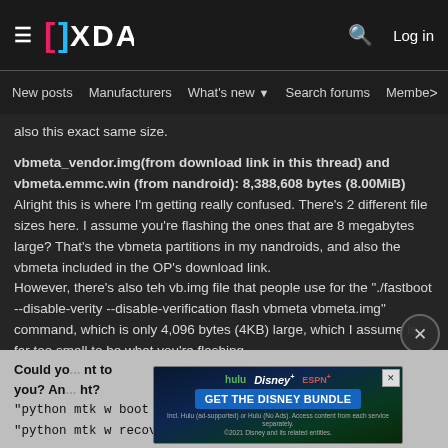XDA — New posts | Manufacturers | What's new | Search forums | Members
also this exact same size.
vbmeta_vendor.img(from download link in this thread) and vbmeta.emmc.win (from nandroid): 8,388,608 bytes (8.00MiB)
Alright this is where I'm getting really confused. There's 2 different file sizes here. I assume you're flashing the ones that are 8 megabytes large? That's the vbmeta partitions in my nandroids, and also the vbmeta included in the OP's download link.
However, there's also teh vb.img file that people use for the "./fastboot --disable-verity --disable-verification flash vbmeta vbmeta.img" command, which is only 4,096 bytes (4KB) large, which I assume is far too small to be what you're flashing.
Could you ... nt to you? An ... ht?
"python mtk w boot boot.img"
"python mtk w recovery recovery.img"
[Figure (screenshot): Disney Bundle advertisement banner with Hulu, Disney+, ESPN+ logos and GET THE DISNEY BUNDLE call-to-action button]